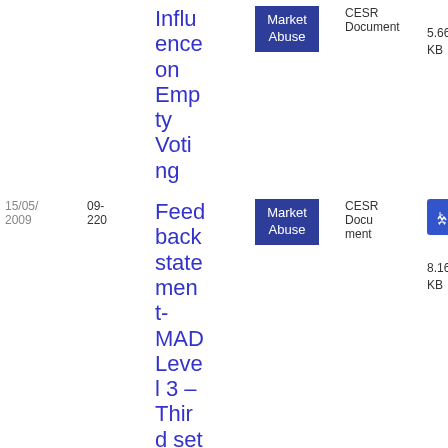| Date | Ref | Title | Tag | Type | File |
| --- | --- | --- | --- | --- | --- |
|  |  | Influence on Empty Voting | Market Abuse | CESR Document | 27
5.66 KB |
| 15/05/2009 | 09-220 | Feedback statement- MAD Level 3 – Third set of CESR guidance | Market Abuse | CESR Document | 23
8.16 KB |